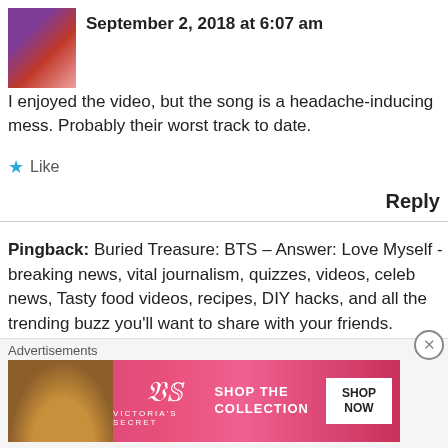September 2, 2018 at 6:07 am
I enjoyed the video, but the song is a headache-inducing mess. Probably their worst track to date.
★ Like
Reply
Pingback: Buried Treasure: BTS – Answer: Love Myself - breaking news, vital journalism, quizzes, videos, celeb news, Tasty food videos, recipes, DIY hacks, and all the trending buzz you'll want to share with your friends. Copyright eComSub, Inc. All rights rese
Advertisements